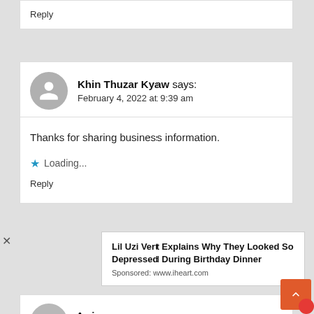Reply
Khin Thuzar Kyaw says: February 4, 2022 at 9:39 am
Thanks for sharing business information.
Loading...
Reply
Lil Uzi Vert Explains Why They Looked So Depressed During Birthday Dinner Sponsored: www.iheart.com
Awin says: February 4, 2022 at 9:05 pm